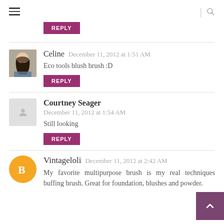Navigation header with hamburger menu and search icon
REPLY (button above Celine comment)
Celine — December 11, 2012 at 1:51 AM
Eco tools blush brush :D
[REPLY]
Courtney Seager — December 11, 2012 at 1:54 AM
Still looking
[REPLY]
Vintageloli — December 11, 2012 at 2:42 AM
My favorite multipurpose brush is my real techniques buffing brush. Great for foundation, blushes and powder.